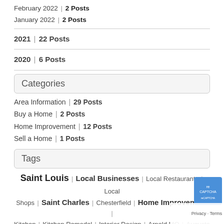February 2022 | 2 Posts
January 2022 | 2 Posts
2021 | 22 Posts
2020 | 6 Posts
Categories
Area Information | 29 Posts
Buy a Home | 2 Posts
Home Improvement | 12 Posts
Sell a Home | 1 Posts
Tags
Saint Louis | Local Businesses | Local Restaurants | Local Shops | Saint Charles | Chesterfield | Home Improvement | Kitchen | Kitchen Remodel | Interior Design | Arnold MO | Augusta MO | Ballwin MO | Breckenridge Hills MO | Beaufort MO | Brentwood MO | Bridgeton MO | Clayton MO | Cottleville MO | Crestwood MO | Creve Coeur MO | Dardenne Prairie MO | De Soto MO | Eureka MO | Farmington MO | Fenton MO | Festus MO | Florissant MO | Frontenac MO | Hazelwood MO | Hermann MO | Imperial MO | Kirkwood MO | Ladue MO | Lake Saint Louis MO | Maplewood MO | Marthasville MO | Maryland Heights MO | Mehlville MO | New Haven MO | O Fallon MO | Olivette MO |